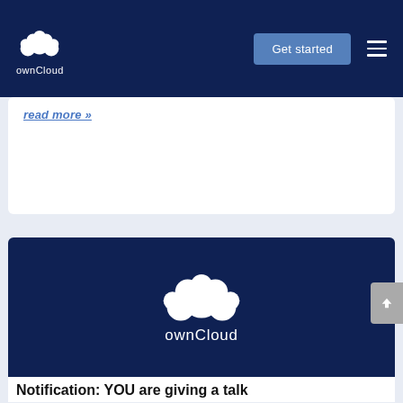ownCloud — Get started
read more »
[Figure (logo): ownCloud logo on dark navy blue background — white cloud icon made of overlapping circles above the text 'ownCloud' in white stylized lettering]
Notification: YOU are giving a talk